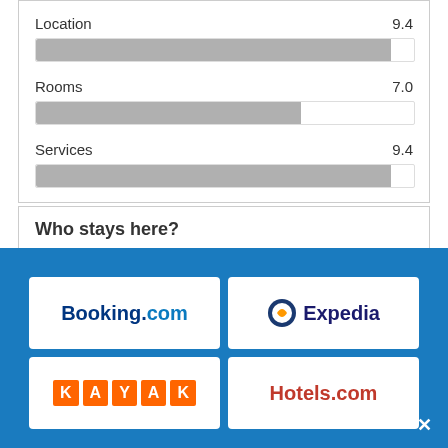Location 9.4
[Figure (bar-chart): Rating bars]
Who stays here?
Solo travellers 8.9
Couples 8.0
[Figure (logo): Booking.com logo]
[Figure (logo): Expedia logo]
[Figure (logo): KAYAK logo]
[Figure (logo): Hotels.com logo]